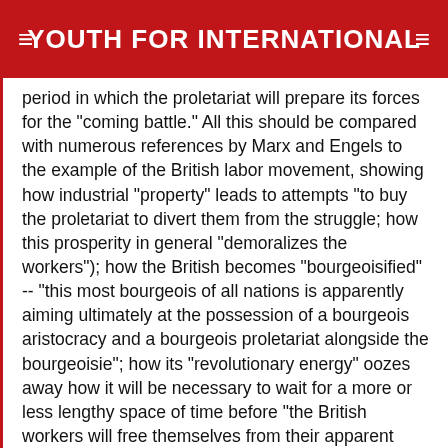YOUTH FOR INTERNATIONAL
period in which the proletariat will prepare its forces for the "coming battle." All this should be compared with numerous references by Marx and Engels to the example of the British labor movement, showing how industrial "property" leads to attempts "to buy the proletariat to divert them from the struggle; how this prosperity in general "demoralizes the workers"); how the British becomes "bourgeoisified" -- "this most bourgeois of all nations is apparently aiming ultimately at the possession of a bourgeois aristocracy and a bourgeois proletariat alongside the bourgeoisie"; how its "revolutionary energy" oozes away how it will be necessary to wait for a more or less lengthy space of time before "the British workers will free themselves from their apparent bourgeois infection" how the British labor movement "lacks the mettle of the Chartists how the British workers' leaders are becoming a type midway between "a radical bourgeois and a worker" (in reference to Holyoak, Vol. 4, p.209); how, owning to Britain's monopoly, and as long as that monopoly lasts, "the British workingman will not budge" The tactics of the economic struggle, in connection with the general course (and outcome) of the working-class movement, are considered here from a